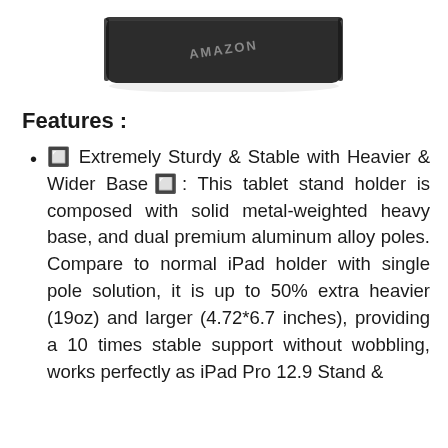[Figure (photo): Partial view of a black tablet or device base, shot from above at an angle, against white background]
Features :
🔲 Extremely Sturdy & Stable with Heavier & Wider Base🔲: This tablet stand holder is composed with solid metal-weighted heavy base, and dual premium aluminum alloy poles. Compare to normal iPad holder with single pole solution, it is up to 50% extra heavier (19oz) and larger (4.72*6.7 inches), providing a 10 times stable support without wobbling, works perfectly as iPad Pro 12.9 Stand &